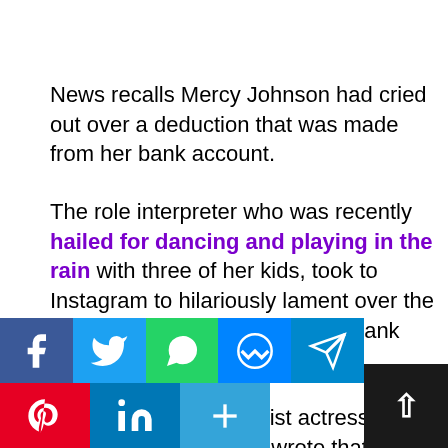News recalls Mercy Johnson had cried out over a deduction that was made from her bank account.
The role interpreter who was recently hailed for dancing and playing in the rain with three of her kids, took to Instagram to hilariously lament over the deduction of '11naira' from her bank account.
Ranting angrily, the A-list actress who screamed in the video wrote that her, 'bank deducted 11 naira from her account', and she
[Figure (infographic): Social media share buttons bar at the bottom: Facebook (blue), Twitter (light blue), WhatsApp (green), Messenger (blue), Telegram (blue) in top row; Pinterest (red), LinkedIn (blue), Share (blue) in bottom row. A scroll-to-top dark button with up arrow on the right.]